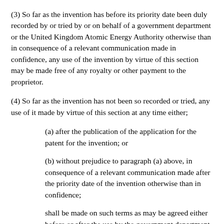(3) So far as the invention has before its priority date been duly recorded by or tried by or on behalf of a government department or the United Kingdom Atomic Energy Authority otherwise than in consequence of a relevant communication made in confidence, any use of the invention by virtue of this section may be made free of any royalty or other payment to the proprietor.
(4) So far as the invention has not been so recorded or tried, any use of it made by virtue of this section at any time either;
(a) after the publication of the application for the patent for the invention; or
(b) without prejudice to paragraph (a) above, in consequence of a relevant communication made after the priority date of the invention otherwise than in confidence;
shall be made on such terms as may be agreed either before or after the use by the government department and the proprietor of the patent with the approval of the Treasury or as may in default of agreement be determined by the court on a